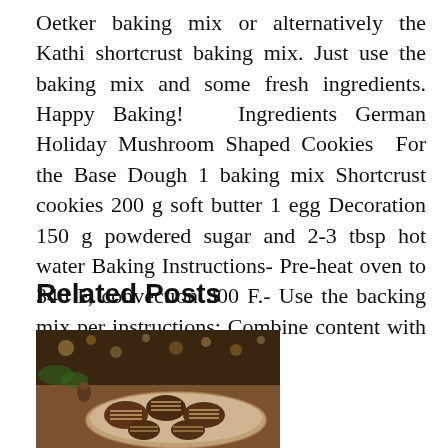Oetker baking mix or alternatively the Kathi shortcrust baking mix. Just use the baking mix and some fresh ingredients. Happy Baking!   Ingredients German Holiday Mushroom Shaped Cookies  For the Base Dough 1 baking mix Shortcrust cookies 200 g soft butter 1 egg Decoration 150 g powdered sugar and 2-3 tbsp hot water Baking Instructions- Pre-heat oven to 340 F, convection 300 F.- Use the backing mix per instructions: Combine content with butter and 1...
Related Posts
[Figure (photo): A photo of holiday cookies arranged on a plate, with festive decorations in the background including lights and greenery. The cookies appear to be chocolate-dipped or glazed with striped icing.]